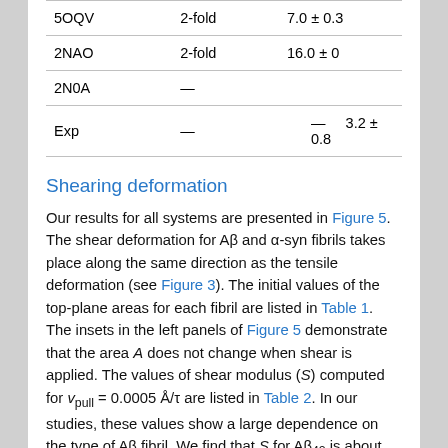|  |  |  |
| --- | --- | --- |
| 5OQV | 2-fold | 7.0 ± 0.3 |
| 2NAO | 2-fold | 16.0 ± 0 |
| 2N0A | — |  |
| Exp | — | 3.2 ± 0.8 |
Shearing deformation
Our results for all systems are presented in Figure 5. The shear deformation for Aβ and α-syn fibrils takes place along the same direction as the tensile deformation (see Figure 3). The initial values of the top-plane areas for each fibril are listed in Table 1. The insets in the left panels of Figure 5 demonstrate that the area A does not change when shear is applied. The values of shear modulus (S) computed for v_pull = 0.0005 Å/τ are listed in Table 2. In our studies, these values show a large dependence on the type of Aβ fibril. We find that S for Aβ₄₂ is about 1.6 GPa, while for Aβ₄₀ it is equal to 0.7 GPA. The 2.3-fold increase supports the picture that the Aβ₄₂ fibril is mechanically more stable than the Aβ₄₀[27]. The S